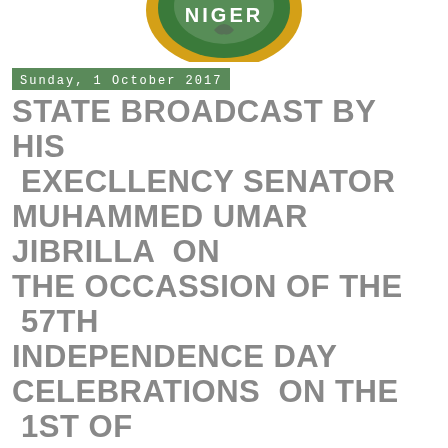[Figure (logo): Nigeria government circular logo — green and gold with eagle emblem, partially cropped at top]
Sunday, 1 October 2017
STATE BROADCAST BY HIS EXECLLENCY SENATOR MUHAMMED UMAR JIBRILLA ON THE OCCASSION OF THE 57TH INDEPENDENCE DAY CELEBRATIONS ON THE 1ST OF OCTOBER, 2017.
1st October, 2017
By Yunusa Abdullahi
[Figure (photo): A man standing between Nigerian flags in an official setting, wearing white attire]